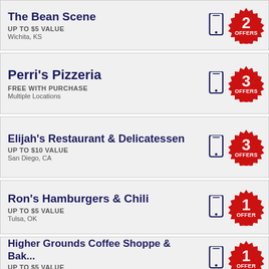The Bean Scene | UP TO $5 VALUE | Wichita, KS | 2 OFFERS
Perri's Pizzeria | FREE WITH PURCHASE | Multiple Locations | 3 OFFERS
Elijah's Restaurant & Delicatessen | UP TO $10 VALUE | San Diego, CA | 3 OFFERS
Ron's Hamburgers & Chili | UP TO $5 VALUE | Tulsa, OK | 1 OFFER
Higher Grounds Coffee Shoppe & Bak... | UP TO $5 VALUE | Oklahoma City, OK | 1 OFFER